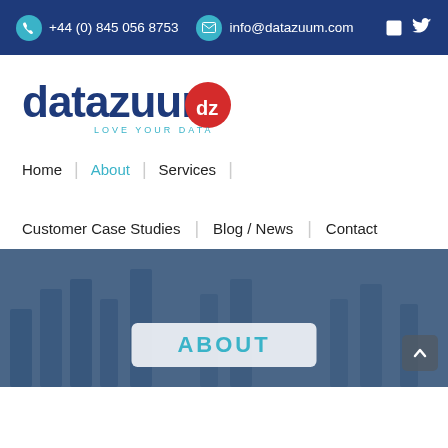+44 (0) 845 056 8753  info@datazuum.com
[Figure (logo): Datazuum logo with 'LOVE YOUR DATA' tagline and red DZ badge]
Home | About | Services |
Customer Case Studies | Blog / News | Contact
[Figure (photo): Dark blue tinted background photo of bar charts/financial graphs with 'ABOUT' text box overlay and scroll-to-top button]